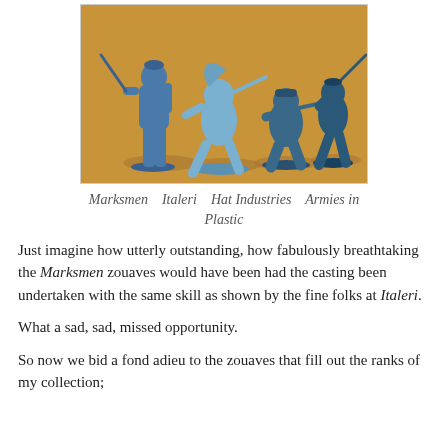[Figure (photo): Four blue plastic toy soldier figurines (zouaves) posed on an orange/tan background. The figures are in various action poses holding rifles and weapons.]
Marksmen   Italeri   Hat Industries   Armies in Plastic
Just imagine how utterly outstanding, how fabulously breathtaking the Marksmen zouaves would have been had the casting been undertaken with the same skill as shown by the fine folks at Italeri.
What a sad, sad, missed opportunity.
So now we bid a fond adieu to the zouaves that fill out the ranks of my collection;